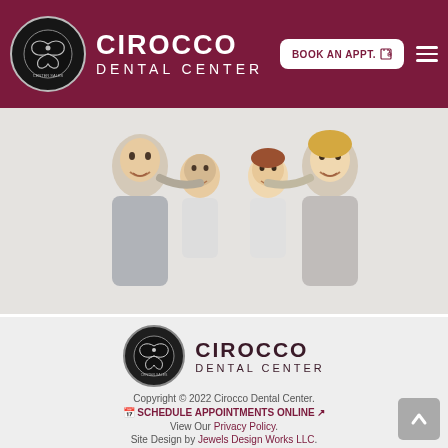Cirocco Dental Center – BOOK AN APPT.
[Figure (photo): Happy family of four (father, mother, and two children) smiling together against white background]
[Figure (logo): Cirocco Dental Center logo with circular emblem and text]
Copyright © 2022 Cirocco Dental Center. SCHEDULE APPOINTMENTS ONLINE. View Our Privacy Policy. Site Design by Jewels Design Works LLC.